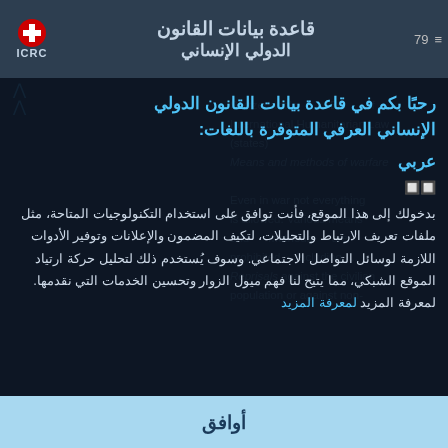قاعدة بيانات القانون الدولي الإنساني ICRC
رحبًا بكم في قاعدة بيانات القانون الدولي الإنساني العرفي المتوفرة باللغات:
عربي
بدخولك إلى هذا الموقع، فأنت توافق على استخدام التكنولوجيات المتاحة، مثل ملفات تعريف الارتباط والتحليلات، لتكيف المضمون والإعلانات وتوفير الأدوات اللازمة لوسائل التواصل الاجتماعي. وسوف يُستخدم ذلك لتحليل حركة ارتياد الموقع الشبكي، مما يتيح لنا فهم ميول الزوار وتحسين الخدمات التي نقدمها. لمعرفة المزيد لمعرفة المزيد
Switzerland's ABC of International Humanitarian Law (states) Means and methods of warfare Even in war not everything is allowed. Various means and methods are prohibited, including ... Reprisals against the civilian population or against non-
أوافق